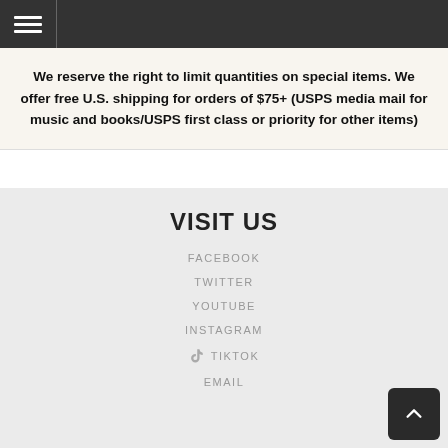Navigation menu header bar
We reserve the right to limit quantities on special items. We offer free U.S. shipping for orders of $75+ (USPS media mail for music and books/USPS first class or priority for other items)
VISIT US
FACEBOOK
TWITTER
YOUTUBE
INSTAGRAM
TIKTOK
EMAIL